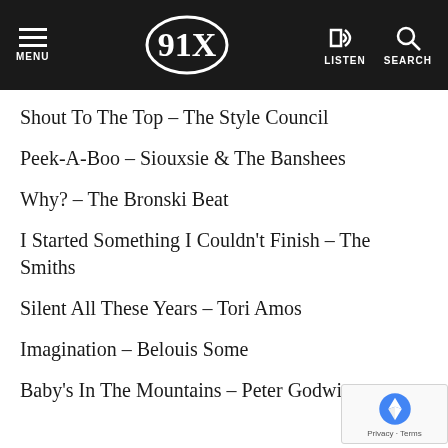91X — MENU | LISTEN | SEARCH
Shout To The Top – The Style Council
Peek-A-Boo – Siouxsie & The Banshees
Why? – The Bronski Beat
I Started Something I Couldn't Finish – The Smiths
Silent All These Years – Tori Amos
Imagination – Belouis Some
Baby's In The Mountains – Peter Godwin